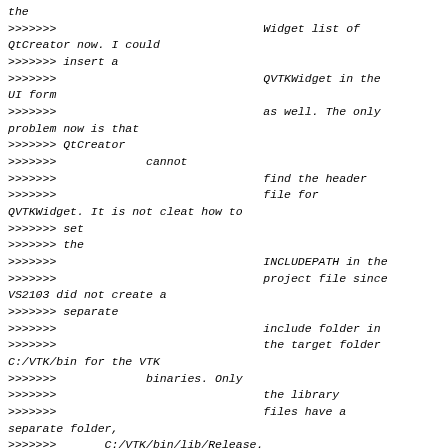the
>>>>>>>					Widget list of
QtCreator now. I could
>>>>>>> insert a
>>>>>>>					QVTKWidget in the
UI form
>>>>>>>					as well. The only
problem now is that
>>>>>>> QtCreator
>>>>>>>			cannot
>>>>>>>					find the header
>>>>>>>					file for
QVTKWidget. It is not cleat how to
>>>>>>> set
>>>>>>> the
>>>>>>>					INCLUDEPATH in the
>>>>>>>					project file since
VS2103 did not create a
>>>>>>> separate
>>>>>>>					include folder in
>>>>>>>					the target folder
C:/VTK/bin for the VTK
>>>>>>>			binaries. Only
>>>>>>>					the library
>>>>>>>					files have a
separate folder,
>>>>>>>		C:/VTK/bin/lib/Release.
>>>>>>>
>>>>>>>					Regards,
>>>>>>>					Zoltan